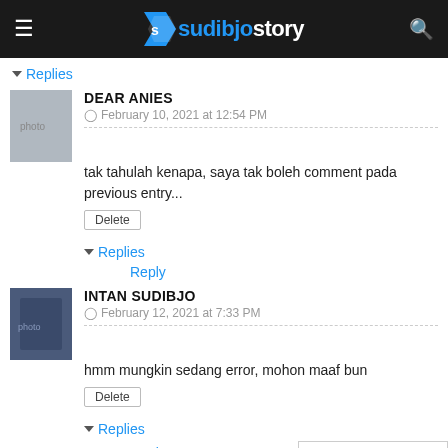sudibjostory
▼ Replies
DEAR ANIES — February 10, 2021 at 12:54 PM
tak tahulah kenapa, saya tak boleh comment pada previous entry...
Delete
▼ Replies
Reply
INTAN SUDIBJO — February 12, 2021 at 7:33 PM
hmm mungkin sedang error, mohon maaf bun
Delete
▼ Replies
Reply
INTAN SUDIBJO — February 12, 2021 at 7:33 PM
cara lain menunjukkan senyum yang sangat